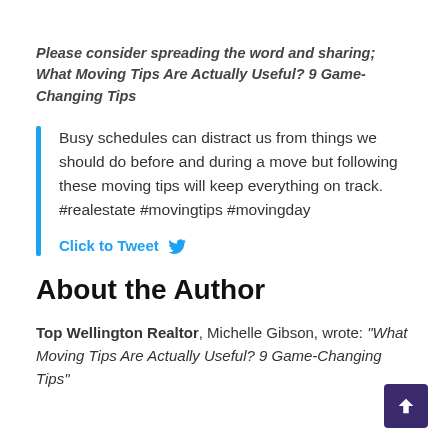Please consider spreading the word and sharing; What Moving Tips Are Actually Useful? 9 Game-Changing Tips
Busy schedules can distract us from things we should do before and during a move but following these moving tips will keep everything on track. #realestate #movingtips #movingday
Click to Tweet
About the Author
Top Wellington Realtor, Michelle Gibson, wrote: "What Moving Tips Are Actually Useful? 9 Game-Changing Tips"